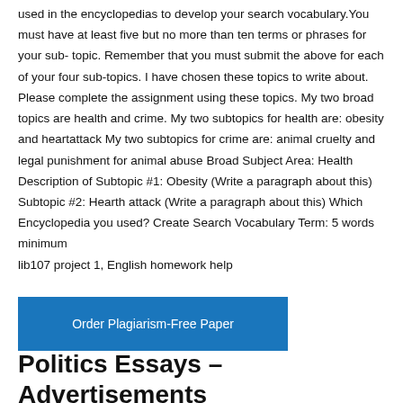used in the encyclopedias to develop your search vocabulary. You must have at least five but no more than ten terms or phrases for your sub- topic. Remember that you must submit the above for each of your four sub-topics. I have chosen these topics to write about. Please complete the assignment using these topics. My two broad topics are health and crime. My two subtopics for health are: obesity and heartattack My two subtopics for crime are: animal cruelty and legal punishment for animal abuse Broad Subject Area: Health Description of Subtopic #1: Obesity (Write a paragraph about this) Subtopic #2: Hearth attack (Write a paragraph about this) Which Encyclopedia you used? Create Search Vocabulary Term: 5 words minimum
lib107 project 1, English homework help
[Figure (other): Blue button labeled 'Order Plagiarism-Free Paper']
Politics Essays – Advertisements Campaigns Voters